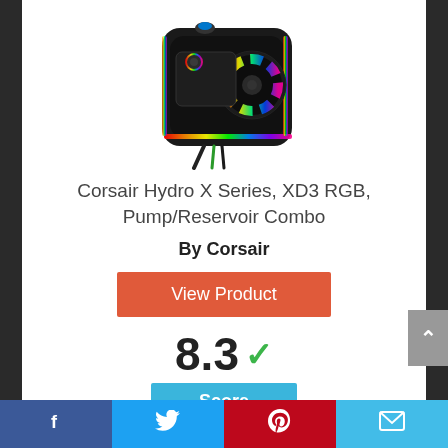[Figure (photo): Product photo of Corsair Hydro X Series XD3 RGB Pump/Reservoir Combo — a black square pump unit with RGB rainbow lighting around the edges and on the fan, with cables coming out below.]
Corsair Hydro X Series, XD3 RGB, Pump/Reservoir Combo
By Corsair
View Product
8.3
Score